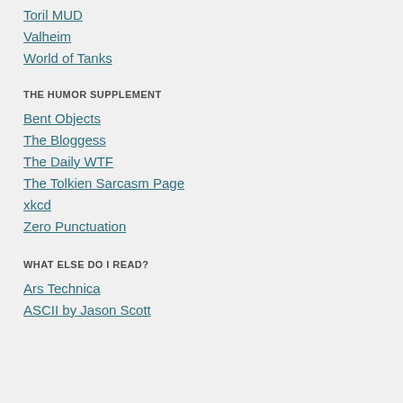Toril MUD
Valheim
World of Tanks
THE HUMOR SUPPLEMENT
Bent Objects
The Bloggess
The Daily WTF
The Tolkien Sarcasm Page
xkcd
Zero Punctuation
WHAT ELSE DO I READ?
Ars Technica
ASCII by Jason Scott